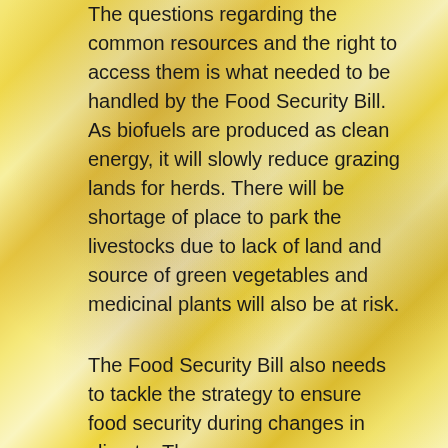[Figure (photo): Background photo of corn/grain crops with warm yellow and golden tones, with some dark/reddish streaks suggesting dried or burnt vegetation]
The questions regarding the common resources and the right to access them is what needed to be handled by the Food Security Bill. As biofuels are produced as clean energy, it will slowly reduce grazing lands for herds. There will be shortage of place to park the livestocks due to lack of land and source of green vegetables and medicinal plants will also be at risk.

The Food Security Bill also needs to tackle the strategy to ensure food security during changes in climate. The